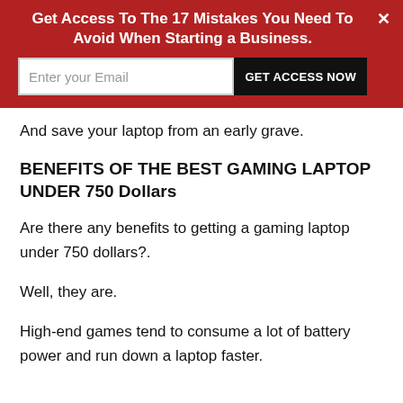[Figure (other): Red promotional banner with headline 'Get Access To The 17 Mistakes You Need To Avoid When Starting a Business.' with email input field and GET ACCESS NOW button, and an X close button.]
And save your laptop from an early grave.
BENEFITS OF THE BEST GAMING LAPTOP UNDER 750 Dollars
Are there any benefits to getting a gaming laptop under 750 dollars?.
Well, they are.
High-end games tend to consume a lot of battery power and run down a laptop faster.